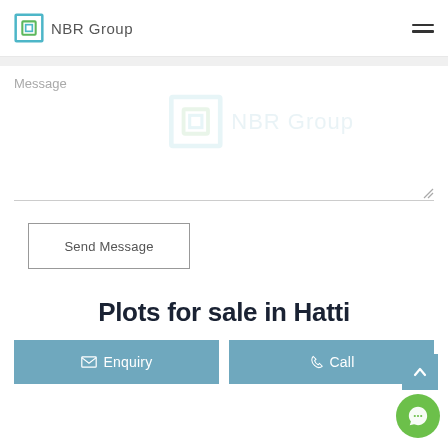NBR Group
Message
[Figure (logo): NBR Group watermark logo in light blue, centered in message area]
Send Message
Plots for sale in Hatti
Enquiry
Call